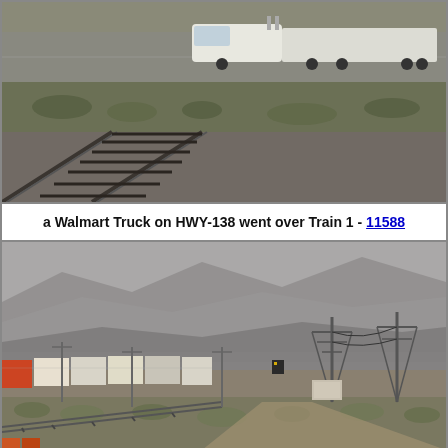[Figure (photo): Aerial or elevated view of a white Walmart semi-truck driving on HWY-138, with railroad tracks visible in the foreground and rocky desert terrain in the background.]
a Walmart Truck on HWY-138 went over Train 1 - 11588
[Figure (photo): Wide landscape view of a railroad yard with freight train containers (intermodal), power line towers, telegraph poles, desert shrubs, mountains in the background shrouded in haze/smoke, and a dirt road in the foreground.]